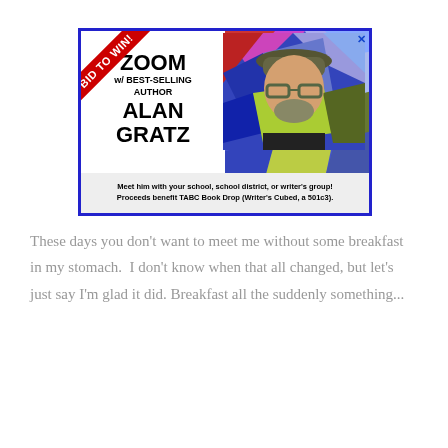[Figure (illustration): Advertisement banner for a Zoom auction with best-selling author Alan Gratz. Features a red 'BID TO WIN!' ribbon in the top-left corner, text 'ZOOM w/ BEST-SELLING AUTHOR ALAN GRATZ' on left side, a photo of a bearded man with hat and glasses on a colorful geometric background on the right, and footer text 'Meet him with your school, school district, or writer's group! Proceeds benefit TABC Book Drop (Writer's Cubed, a 501c3).']
These days you don't want to meet me without some breakfast in my stomach.  I don't know when that all changed, but let's just say I'm glad it did. Breakfast all the suddenly something...